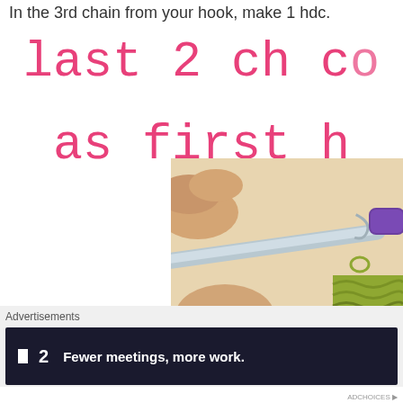In the 3rd chain from your hook, make 1 hdc.
[Figure (photo): Close-up photo of a hand holding a silver crochet hook inserted through yellow-green yarn stitches, with a purple hook handle visible on the right side. Pink circle highlight on bottom right. Overlaid pink text reads 'last 2 ch co... as first h...']
Advertisements
[Figure (screenshot): Dark advertisement banner showing a logo with a square icon and '2' next to it, with white bold text reading 'Fewer meetings, more work.']